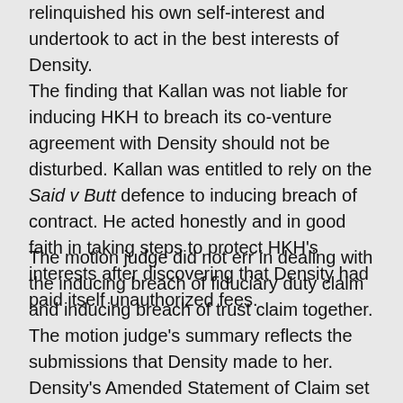relinquished his own self-interest and undertook to act in the best interests of Density.
The finding that Kallan was not liable for inducing HKH to breach its co-venture agreement with Density should not be disturbed. Kallan was entitled to rely on the Said v Butt defence to inducing breach of contract. He acted honestly and in good faith in taking steps to protect HKH's interests after discovering that Density had paid itself unauthorized fees.
The motion judge did not err in dealing with the inducing breach of fiduciary duty claim and inducing breach of trust claim together. The motion judge's summary reflects the submissions that Density made to her. Density's Amended Statement of Claim set out the inducing breach of trust and inducing fiduciary duty claims together. Furthermore, the motion judge's finding that the second LOI was not a trust asset correctly disposed of both claims.